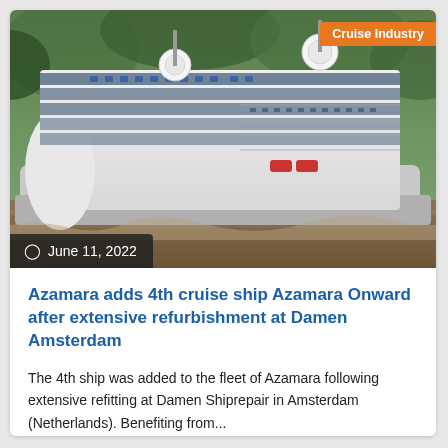[Figure (photo): Aerial/side view of a large white cruise ship on water surrounded by green trees, with multiple decks and satellite domes visible]
Cruise Industry
June 11, 2022
Azamara adds 4th cruise ship Azamara Onward after extensive refurbishment at Damen Amsterdam
The 4th ship was added to the fleet of Azamara following extensive refitting at Damen Shiprepair in Amsterdam (Netherlands). Benefiting from...